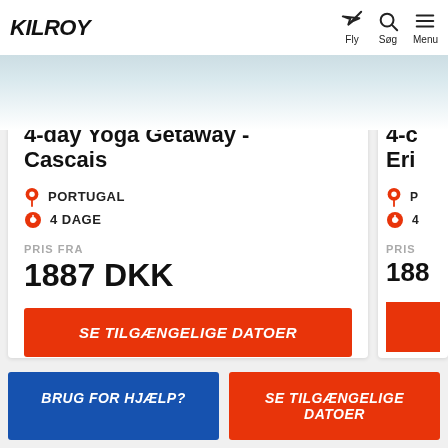[Figure (screenshot): KILROY travel website screenshot showing navigation bar with logo, fly/søg/menu icons, and product cards for yoga getaway trips]
KiLROY | Fly | Søg | Menu
4-day Yoga Getaway - Cascais
PORTUGAL
4 DAGE
PRIS FRA
1887 DKK
SE TILGÆNGELIGE DATOER
4-c
Eri
P
4
PRIS
188
SE TILGÆNGELIGE DATOER (partial)
BRUG FOR HJÆLP?
SE TILGÆNGELIGE DATOER